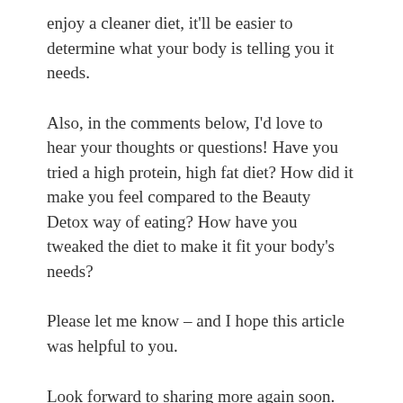enjoy a cleaner diet, it'll be easier to determine what your body is telling you it needs.
Also, in the comments below, I'd love to hear your thoughts or questions! Have you tried a high protein, high fat diet? How did it make you feel compared to the Beauty Detox way of eating? How have you tweaked the diet to make it fit your body's needs?
Please let me know – and I hope this article was helpful to you.
Look forward to sharing more again soon.